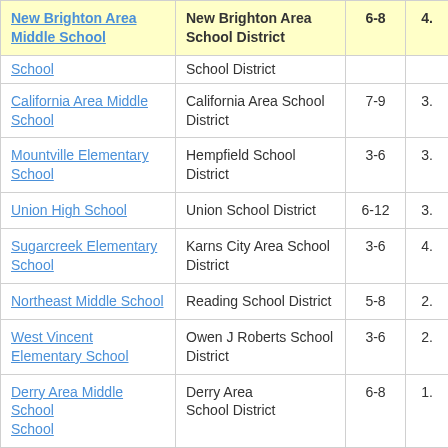| School Name | District | Grades | Value |
| --- | --- | --- | --- |
| New Brighton Area Middle School | New Brighton Area School District | 6-8 | 4. |
| School | School District |  |  |
| California Area Middle School | California Area School District | 7-9 | 3. |
| Mountville Elementary School | Hempfield School District | 3-6 | 3. |
| Union High School | Union School District | 6-12 | 3. |
| Sugarcreek Elementary School | Karns City Area School District | 3-6 | 4. |
| Northeast Middle School | Reading School District | 5-8 | 2. |
| West Vincent Elementary School | Owen J Roberts School District | 3-6 | 2. |
| Derry Area Middle School | Derry Area School District | 6-8 | 1. |